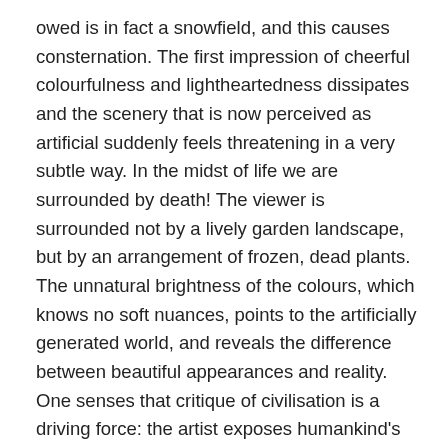owed is in fact a snowfield, and this causes consternation. The first impression of cheerful colourfulness and lightheartedness dissipates and the scenery that is now perceived as artificial suddenly feels threatening in a very subtle way. In the midst of life we are surrounded by death! The viewer is surrounded not by a lively garden landscape, but by an arrangement of frozen, dead plants. The unnatural brightness of the colours, which knows no soft nuances, points to the artificially generated world, and reveals the difference between beautiful appearances and reality. One senses that critique of civilisation is a driving force: the artist exposes humankind's reckless approach to nature because we are willing to sacrifice nature for the sake of its perfect beauty.